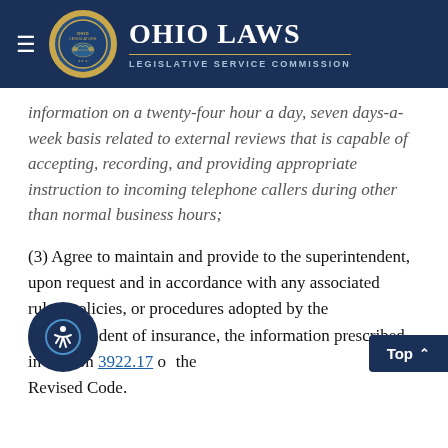Ohio Laws — Legislative Service Commission
information on a twenty-four hour a day, seven days-a-week basis related to external reviews that is capable of accepting, recording, and providing appropriate instruction to incoming telephone callers during other than normal business hours;
(3) Agree to maintain and provide to the superintendent, upon request and in accordance with any associated rules, policies, or procedures adopted by the superintendent of insurance, the information prescribed in section 3922.17 of the Revised Code.